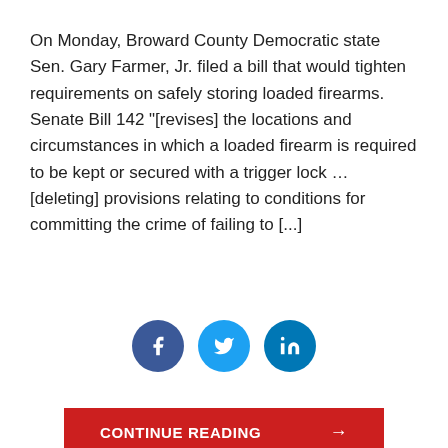On Monday, Broward County Democratic state Sen. Gary Farmer, Jr. filed a bill that would tighten requirements on safely storing loaded firearms. Senate Bill 142 "[revises] the locations and circumstances in which a loaded firearm is required to be kept or secured with a trigger lock … [deleting] provisions relating to conditions for committing the crime of failing to [...]
[Figure (infographic): Three social sharing icons: Facebook (dark blue circle with f), Twitter (light blue circle with bird), LinkedIn (blue circle with 'in')]
CONTINUE READING →
Jenna Buzzacco-Foerster   August 10, 2016
[Figure (photo): Grayscale photo partially visible at bottom of page]